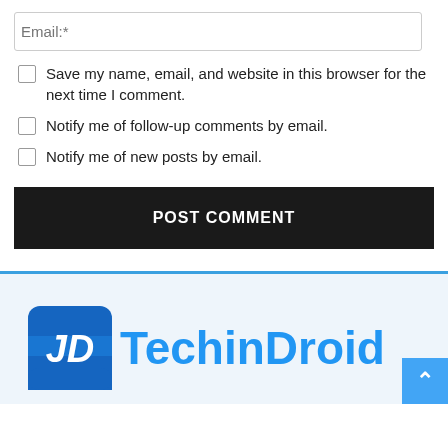Email:*
Save my name, email, and website in this browser for the next time I comment.
Notify me of follow-up comments by email.
Notify me of new posts by email.
POST COMMENT
[Figure (logo): TechinDroid logo with blue rounded square icon containing 'JD' monogram and blue text 'TechinDroid']